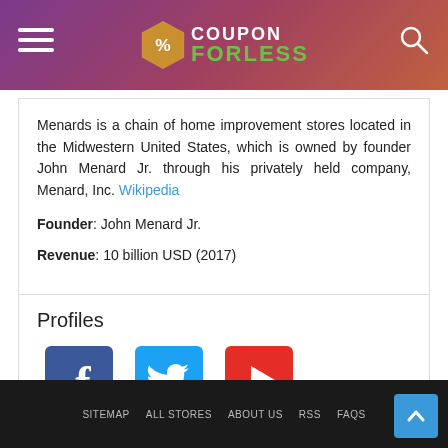COUPON FORLESS
Menards is a chain of home improvement stores located in the Midwestern United States, which is owned by founder John Menard Jr. through his privately held company, Menard, Inc. Wikipedia
Founder: John Menard Jr.
Revenue: 10 billion USD (2017)
Profiles
[Figure (logo): Facebook, Twitter, Youtube social media icons with labels]
SITEMAP  ALL STORES  ABOUT US  RSS  FAQS